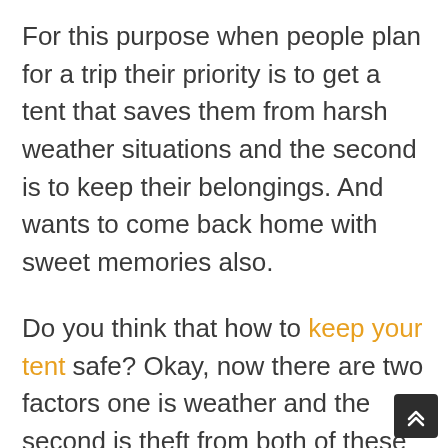For this purpose when people plan for a trip their priority is to get a tent that saves them from harsh weather situations and the second is to keep their belongings. And wants to come back home with sweet memories also.
Do you think that how to keep your tent safe? Okay, now there are two factors one is weather and the second is theft from both of these you have to save your tent and make your journey memorable.
And people also want to know how we can save the worst belongings in the tent. Som